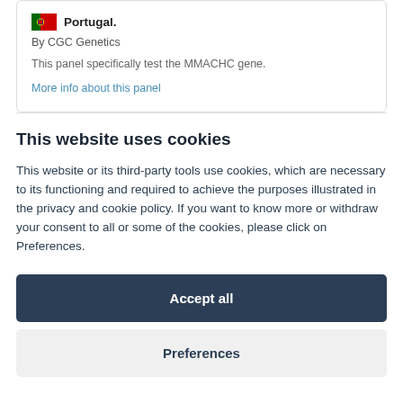Portugal. By CGC Genetics
This panel specifically test the MMACHC gene.
More info about this panel
This website uses cookies
This website or its third-party tools use cookies, which are necessary to its functioning and required to achieve the purposes illustrated in the privacy and cookie policy. If you want to know more or withdraw your consent to all or some of the cookies, please click on Preferences.
Accept all
Preferences